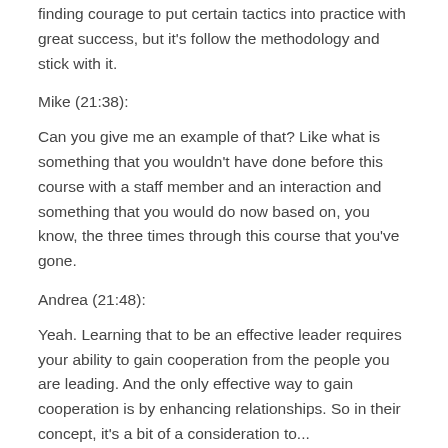finding courage to put certain tactics into practice with great success, but it's follow the methodology and stick with it.
Mike (21:38):
Can you give me an example of that? Like what is something that you wouldn't have done before this course with a staff member and an interaction and something that you would do now based on, you know, the three times through this course that you've gone.
Andrea (21:48):
Yeah. Learning that to be an effective leader requires your ability to gain cooperation from the people you are leading. And the only effective way to gain cooperation is by enhancing relationships. So in their concept, it's a bit of a contradiction to... God Serves Either...